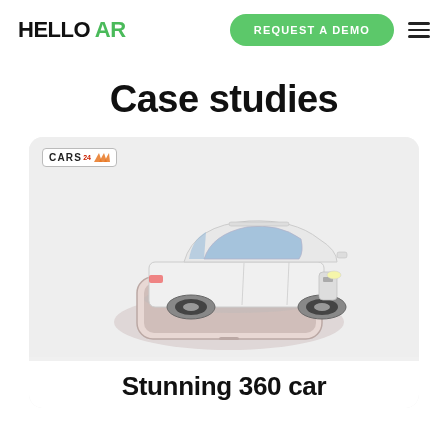HELLO AR — REQUEST A DEMO
Case studies
[Figure (illustration): A white SUV (Hyundai Creta-style) sitting on top of a smartphone, displayed in 3D augmented reality style, with CARS24 logo badge in top-left corner of the card]
Stunning 360 car